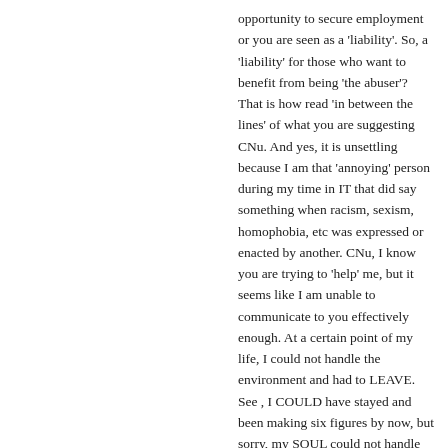opportunity to secure employment or you are seen as a 'liability'. So, a 'liability' for those who want to benefit from being 'the abuser'? That is how read 'in between the lines' of what you are suggesting CNu. And yes, it is unsettling because I am that 'annoying' person during my time in IT that did say something when racism, sexism, homophobia, etc was expressed or enacted by another. CNu, I know you are trying to 'help' me, but it seems like I am unable to communicate to you effectively enough. At a certain point of my life, I could not handle the environment and had to LEAVE. See , I COULD have stayed and been making six figures by now, but sorry, my SOUL could not handle me having to be like the... I'm not to be a 'liability' to the...